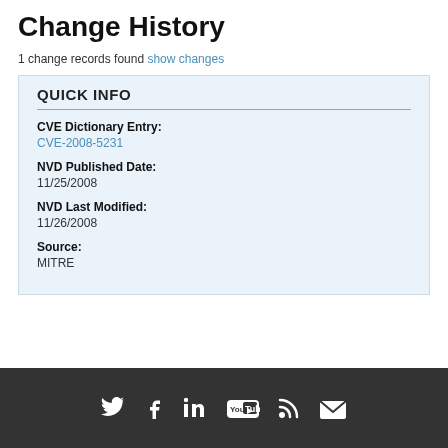Change History
1 change records found show changes
QUICK INFO
CVE Dictionary Entry:
CVE-2008-5231
NVD Published Date:
11/25/2008
NVD Last Modified:
11/26/2008
Source:
MITRE
Social media icons: Twitter, Facebook, LinkedIn, YouTube, RSS, Email